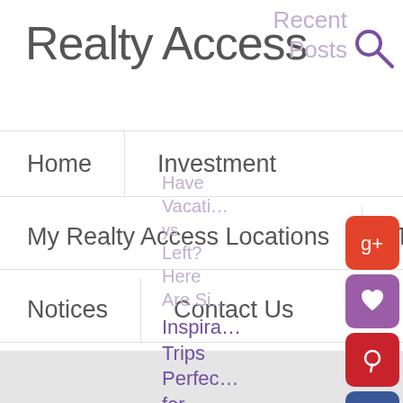Realty Access
Recent Posts
Home
Investment
My Realty Access Locations
Testimonials
Notices
Contact Us
Have Vacati... ys Left? Here Are Si...
Inspira... Trips Perfect for Right Now
Rental dividend payouts
[Figure (screenshot): Social media share buttons sidebar: Google+, heart/favorite, Pinterest, Facebook, plus/add, Twitter icons in colored rounded squares]